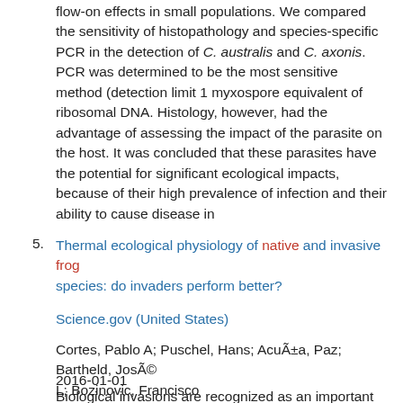flow-on effects in small populations. We compared the sensitivity of histopathology and species-specific PCR in the detection of C. australis and C. axonis. PCR was determined to be the most sensitive method (detection limit 1 myxospore equivalent of ribosomal DNA. Histology, however, had the advantage of assessing the impact of the parasite on the host. It was concluded that these parasites have the potential for significant ecological impacts, because of their high prevalence of infection and their ability to cause disease in
5. Thermal ecological physiology of native and invasive frog species: do invaders perform better?
Science.gov (United States)
Cortes, Pablo A; Puschel, Hans; AcuÃ±a, Paz; Bartheld, JosÃ© L; Bozinovic, Francisco
2016-01-01
Biological invasions are recognized as an important biotic component of global change that threatens the composition, structure and functioning of ecosystems, resulting in loss of biodiversity and displacement of native species. Although...